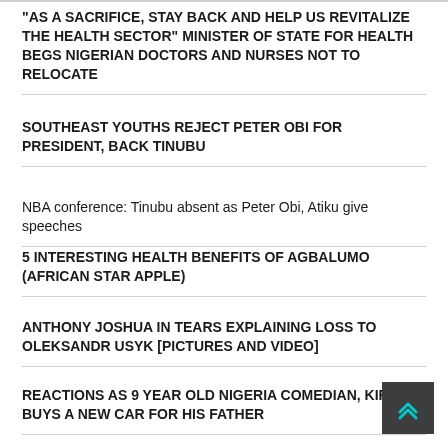“AS A SACRIFICE, STAY BACK AND HELP US REVITALIZE THE HEALTH SECTOR” MINISTER OF STATE FOR HEALTH BEGS NIGERIAN DOCTORS AND NURSES NOT TO RELOCATE
SOUTHEAST YOUTHS REJECT PETER OBI FOR PRESIDENT, BACK TINUBU
NBA conference: Tinubu absent as Peter Obi, Atiku give speeches
5 INTERESTING HEALTH BENEFITS OF AGBALUMO (AFRICAN STAR APPLE)
ANTHONY JOSHUA IN TEARS EXPLAINING LOSS TO OLEKSANDR USYK [PICTURES AND VIDEO]
REACTIONS AS 9 YEAR OLD NIGERIA COMEDIAN, KIRIKU BUYS A NEW CAR FOR HIS FATHER
‘I AM HEAVY’- ANTHONY JOSHUA GIVES ODD REASON FOR [LOSS] TO OLEKSANDR USYK